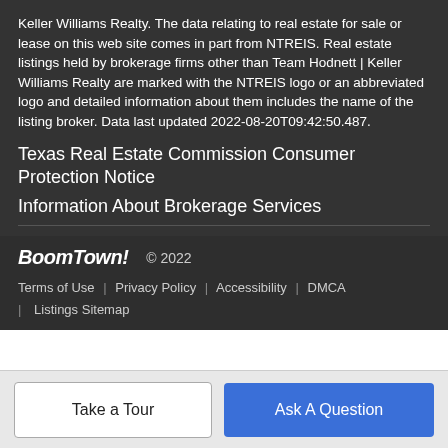Keller Williams Realty. The data relating to real estate for sale or lease on this web site comes in part from NTREIS. Real estate listings held by brokerage firms other than Team Hodnett | Keller Williams Realty are marked with the NTREIS logo or an abbreviated logo and detailed information about them includes the name of the listing broker. Data last updated 2022-08-20T09:42:50.487.
Texas Real Estate Commission Consumer Protection Notice
Information About Brokerage Services
BoomTown! © 2022
Terms of Use | Privacy Policy | Accessibility | DMCA | Listings Sitemap
Take a Tour
Ask A Question